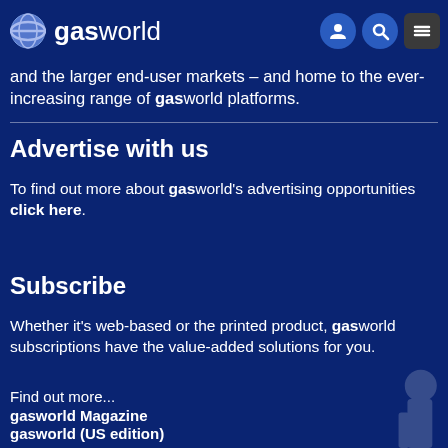gasworld
and the larger end-user markets – and home to the ever-increasing range of gasworld platforms.
Advertise with us
To find out more about gasworld's advertising opportunities click here.
Subscribe
Whether it's web-based or the printed product, gasworld subscriptions have the value-added solutions for you.
Find out more...
gasworld Magazine
gasworld (US edition)